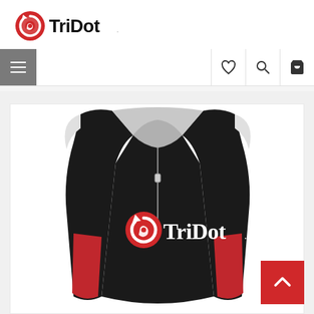[Figure (logo): TriDot logo with red circular icon and bold black wordmark text]
[Figure (screenshot): Website navigation bar with hamburger menu button (grey square with three white lines), and right-side icons for wishlist (heart), search (magnifying glass), and shopping cart]
[Figure (photo): Black triathlon top/jersey with red side panels and TriDot logo on the front, featuring a front zipper and sleeveless design, displayed on a white background]